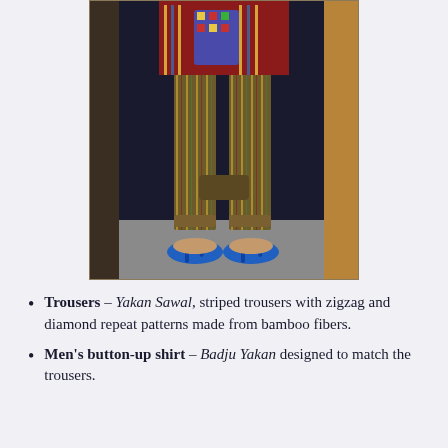[Figure (photo): A person standing in a doorway wearing colorful Yakan traditional clothing: a button-up shirt with vibrant geometric patterns and striped trousers (Yakan Sawal), wearing blue flip-flop sandals. The photo shows the person from approximately the waist down.]
Trousers – Yakan Sawal, striped trousers with zigzag and diamond repeat patterns made from bamboo fibers.
Men's button-up shirt – Badju Yakan designed to match the trousers.